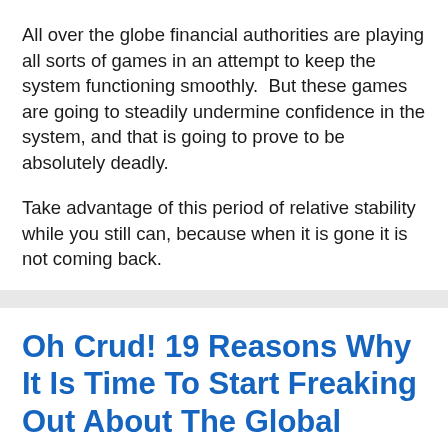All over the globe financial authorities are playing all sorts of games in an attempt to keep the system functioning smoothly. But these games are going to steadily undermine confidence in the system, and that is going to prove to be absolutely deadly.
Take advantage of this period of relative stability while you still can, because when it is gone it is not coming back.
Oh Crud! 19 Reasons Why It Is Time To Start Freaking Out About The Global Economy